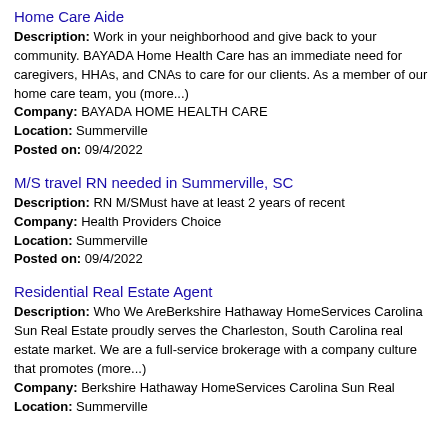Home Care Aide
Description: Work in your neighborhood and give back to your community. BAYADA Home Health Care has an immediate need for caregivers, HHAs, and CNAs to care for our clients. As a member of our home care team, you (more...)
Company: BAYADA HOME HEALTH CARE
Location: Summerville
Posted on: 09/4/2022
M/S travel RN needed in Summerville, SC
Description: RN M/SMust have at least 2 years of recent
Company: Health Providers Choice
Location: Summerville
Posted on: 09/4/2022
Residential Real Estate Agent
Description: Who We AreBerkshire Hathaway HomeServices Carolina Sun Real Estate proudly serves the Charleston, South Carolina real estate market. We are a full-service brokerage with a company culture that promotes (more...)
Company: Berkshire Hathaway HomeServices Carolina Sun Real
Location: Summerville